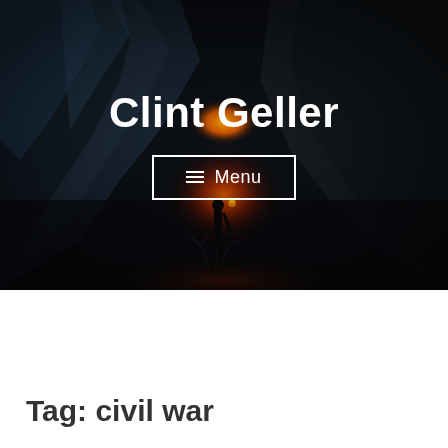[Figure (illustration): Dark fantasy background image showing a figure standing before a glowing red cave entrance, with large dark blue-gray rocky formations on the left and right sides, creating a dramatic atmospheric scene.]
Clint Geller
☰  Menu
Tag: civil war